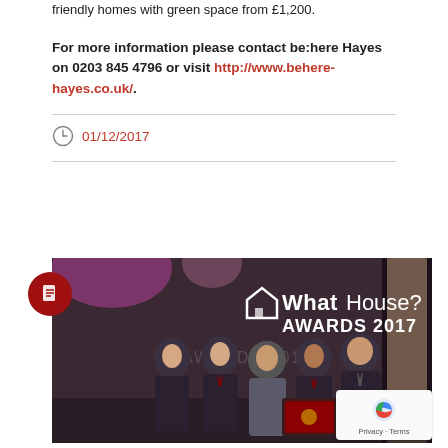friendly homes with green space from £1,200.
For more information please contact be:here Hayes on 0203 845 4796 or visit http://www.behere-hayes.co.uk/.
01/12/2017
[Figure (photo): Five men in formal attire standing in front of a WhatHouse? Awards 2017 backdrop, holding a red award plaque.]